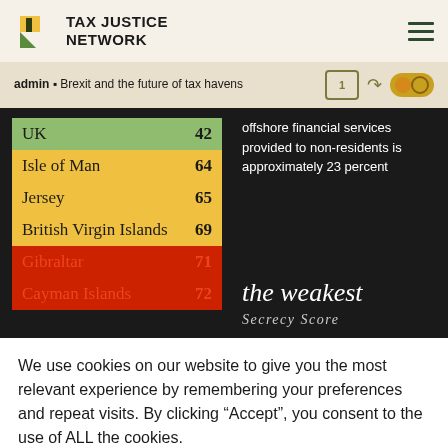TAX JUSTICE NETWORK
admin ▪ Brexit and the future of tax havens
| Territory | Score |
| --- | --- |
| UK | 42 |
| Isle of Man | 64 |
| Jersey | 65 |
| British Virgin Islands | 69 |
| Gibraltar | 71 |
| Cayman Islands | 72 |
offshore financial services provided to non-residents is approximately 23 percent
the weakest
Secrecy Score
We use cookies on our website to give you the most relevant experience by remembering your preferences and repeat visits. By clicking “Accept”, you consent to the use of ALL the cookies.
Cookie settings
ACCEPT